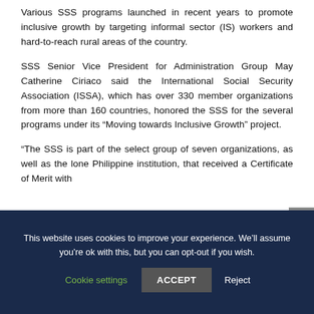Various SSS programs launched in recent years to promote inclusive growth by targeting informal sector (IS) workers and hard-to-reach rural areas of the country.
SSS Senior Vice President for Administration Group May Catherine Ciriaco said the International Social Security Association (ISSA), which has over 330 member organizations from more than 160 countries, honored the SSS for the several programs under its “Moving towards Inclusive Growth” project.
“The SSS is part of the select group of seven organizations, as well as the lone Philippine institution, that received a Certificate of Merit with
This website uses cookies to improve your experience. We’ll assume you’re ok with this, but you can opt-out if you wish.